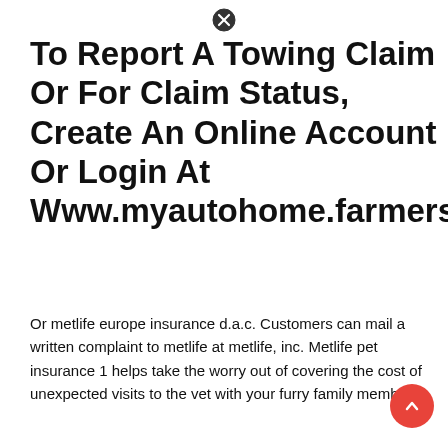To Report A Towing Claim Or For Claim Status, Create An Online Account Or Login At Www.myautohome.farmers.com.
Or metlife europe insurance d.a.c. Customers can mail a written complaint to metlife at metlife, inc. Metlife pet insurance 1 helps take the worry out of covering the cost of unexpected visits to the vet with your furry family members.
If Multifoliate Or Assembled Udell Usually,